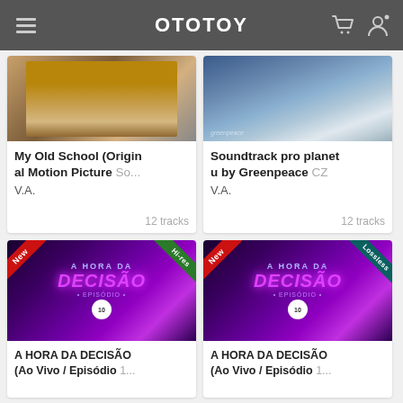OTOTOY
[Figure (photo): Album art for My Old School (Original Motion Picture Soundtrack) - person sitting at school desk]
My Old School (Original Motion Picture So... V.A.
12 tracks
[Figure (photo): Album art for Soundtrack pro planetu by Greenpeace - aerial landscape photo]
Soundtrack pro planetu by Greenpeace CZ V.A.
12 tracks
[Figure (photo): Album art for A HORA DA DECISÃO (Ao Vivo / Episódio 10) - neon purple graphic with New and Hi-res badges]
A HORA DA DECISÃO (Ao Vivo / Episódio 1...
[Figure (photo): Album art for A HORA DA DECISÃO (Ao Vivo / Episódio 10) - neon purple graphic with New and Lossless badges]
A HORA DA DECISÃO (Ao Vivo / Episódio 1...